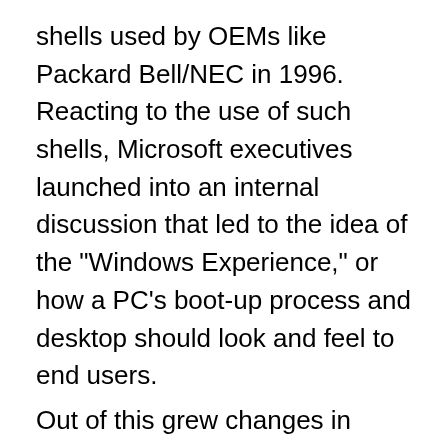shells used by OEMs like Packard Bell/NEC in 1996. Reacting to the use of such shells, Microsoft executives launched into an internal discussion that led to the idea of the "Windows Experience," or how a PC's boot-up process and desktop should look and feel to end users.
Out of this grew changes in Microsoft's "starting